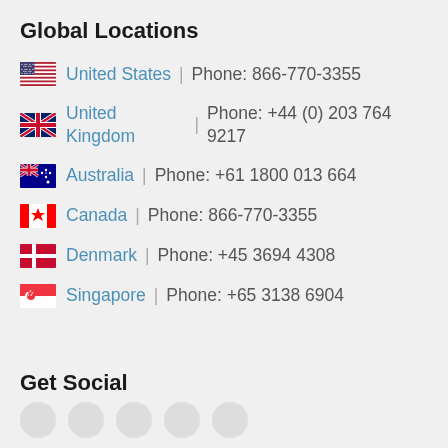Global Locations
United States | Phone: 866-770-3355
United Kingdom | Phone: +44 (0) 203 764 9217
Australia | Phone: +61 1800 013 664
Canada | Phone: 866-770-3355
Denmark | Phone: +45 3694 4308
Singapore | Phone: +65 3138 6904
Get Social